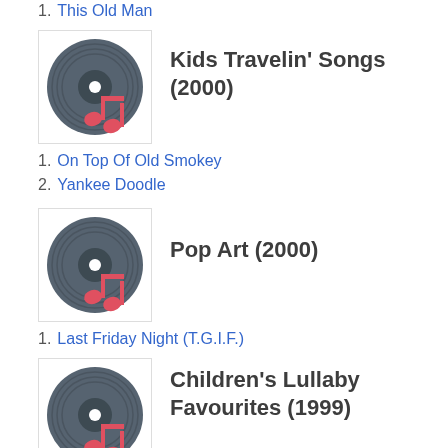1. This Old Man
[Figure (illustration): Vinyl record icon with red music note, representing Kids Travelin' Songs (2000) album]
Kids Travelin' Songs (2000)
1. On Top Of Old Smokey
2. Yankee Doodle
[Figure (illustration): Vinyl record icon with red music note, representing Pop Art (2000) album]
Pop Art (2000)
1. Last Friday Night (T.G.I.F.)
[Figure (illustration): Vinyl record icon with red music note, representing Children's Lullaby Favourites (1999) album]
Children's Lullaby Favourites (1999)